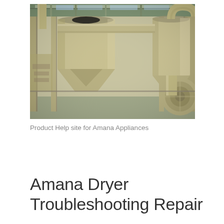[Figure (photo): Industrial facility interior showing large cream/beige-colored cyclone separators and ductwork. The equipment includes conical hoppers, vertical columns, and curved pipes against a structural steel framework with a corrugated roof.]
Product Help site for Amana Appliances
Amana Dryer Troubleshooting Repair